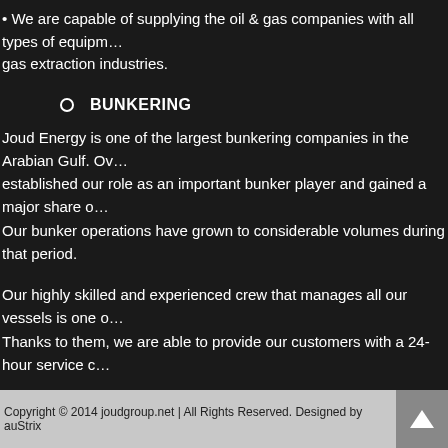• We are capable of supplying the oil & gas companies with all types of equipment used in oil & gas extraction industries.
BUNKERING
Joud Energy is one of the largest bunkering companies in the Arabian Gulf. Over the years, we have established our role as an important bunker player and gained a major share of the bunkering market. Our bunker operations have grown to considerable volumes during that period.
Our highly skilled and experienced crew that manages all our vessels is one of our biggest strengths. Thanks to them, we are able to provide our customers with a 24-hour service coverage.
SHIPPING
Joud Energy is engaged in facilitating cargo operations and the chartering and owning of vessels. Our fleet is maintained under the standard class, with ISM (International Safety Ma...
Copyright © 2014 joudgroup.net | All Rights Reserved. Designed by auStrix